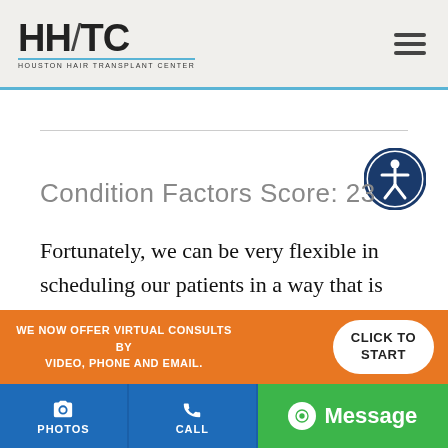HHTC Houston Hair Transplant Center
Condition Factors Score: 23
Fortunately, we can be very flexible in scheduling our patients in a way that is mindful of the greater forces at play. Hair restoration is an important procedure to the individuals involved, but it is not
WE NOW OFFER VIRTUAL CONSULTS BY VIDEO, PHONE AND EMAIL.
CLICK TO START
PHOTOS | CALL | Message